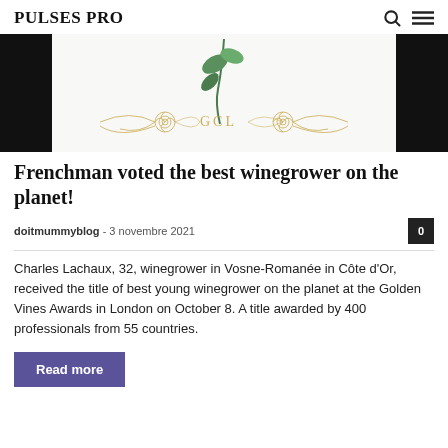PULSES PRO
[Figure (illustration): Wine bottle label detail showing a green botanical illustration with roses and leaves, gold ornate monogram lettering, on white background with black side borders]
Frenchman voted the best winegrower on the planet!
doitmummyblog · 3 novembre 2021
Charles Lachaux, 32, winegrower in Vosne-Romanée in Côte d'Or, received the title of best young winegrower on the planet at the Golden Vines Awards in London on October 8. A title awarded by 400 professionals from 55 countries.
Read more